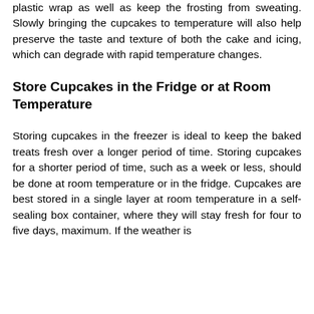plastic wrap as well as keep the frosting from sweating. Slowly bringing the cupcakes to temperature will also help preserve the taste and texture of both the cake and icing, which can degrade with rapid temperature changes.
Store Cupcakes in the Fridge or at Room Temperature
Storing cupcakes in the freezer is ideal to keep the baked treats fresh over a longer period of time. Storing cupcakes for a shorter period of time, such as a week or less, should be done at room temperature or in the fridge. Cupcakes are best stored in a single layer at room temperature in a self-sealing box container, where they will stay fresh for four to five days, maximum. If the weather is